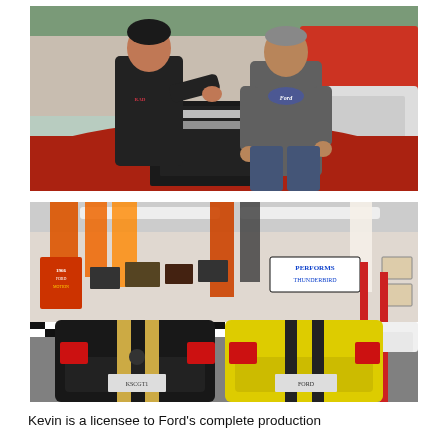[Figure (photo): Two men standing in a parking lot looking at documents placed on the hood of a red car. The younger man on the left wears a dark t-shirt and is pointing at the papers. The older man on the right wears a gray Ford t-shirt. Other vehicles visible in background.]
[Figure (photo): Interior of an automotive garage/showroom with two Ford Mustangs parked side by side — one black with gold stripes and one yellow with black stripes — viewed from the rear. Walls are decorated with racing banners, signs, posters, and memorabilia. A car lift is visible on the right.]
Kevin is a licensee to Ford's complete production